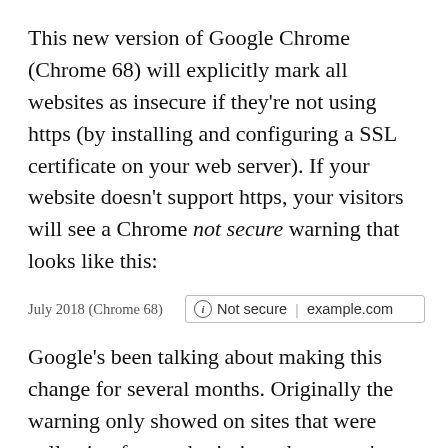This new version of Google Chrome (Chrome 68) will explicitly mark all websites as insecure if they're not using https (by installing and configuring a SSL certificate on your web server). If your website doesn't support https, your visitors will see a Chrome not secure warning that looks like this:
[Figure (screenshot): Browser address bar mockup showing 'July 2018 (Chrome 68)' label on left and a browser bar with 'Not secure | example.com' on right]
Google's been talking about making this change for several months. Originally the warning only showed on sites that were collecting form submissions, but as we've seen an increase in general privacy awareness Google decided that there's no good reason why users of its browser